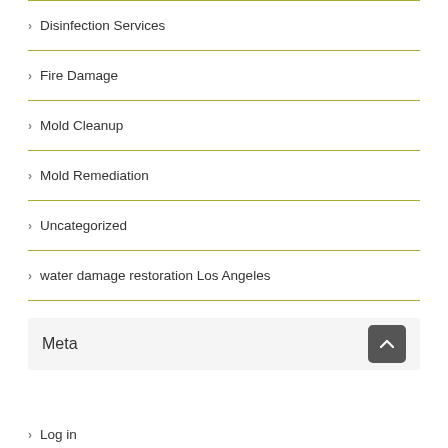Disinfection Services
Fire Damage
Mold Cleanup
Mold Remediation
Uncategorized
water damage restoration Los Angeles
Meta
Log in